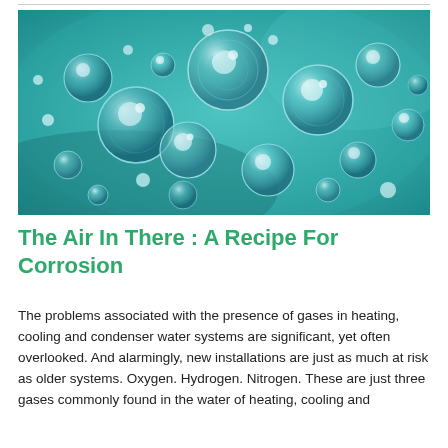[Figure (photo): Close-up photograph of water bubbles/gas bubbles in a teal/cyan colored liquid, showing multiple spherical bubbles of varying sizes rising through water.]
The Air In There : A Recipe For Corrosion
The problems associated with the presence of gases in heating, cooling and condenser water systems are significant, yet often overlooked. And alarmingly, new installations are just as much at risk as older systems. Oxygen. Hydrogen. Nitrogen. These are just three gases commonly found in the water of heating, cooling and